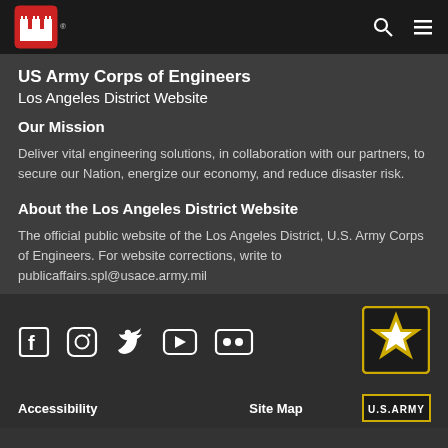US Army Corps of Engineers - Los Angeles District Website - header with logo, search and menu icons
US Army Corps of Engineers
Los Angeles District Website
Our Mission
Deliver vital engineering solutions, in collaboration with our partners, to secure our Nation, energize our economy, and reduce disaster risk.
About the Los Angeles District Website
The official public website of the Los Angeles District, U.S. Army Corps of Engineers. For website corrections, write to publicaffairs.spl@usace.army.mil
[Figure (logo): Social media icons: Facebook, Instagram, Twitter, YouTube, Flickr]
[Figure (logo): U.S. Army star logo with yellow star on black background]
Accessibility   Site Map